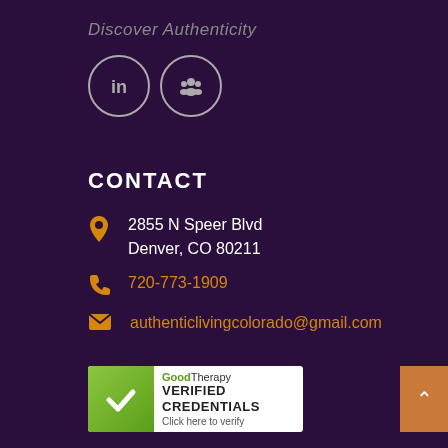Discover Authenticity
[Figure (illustration): Two circular social media icon buttons: LinkedIn (in) and a group/community icon, with white circle borders on dark purple background]
CONTACT
2855 N Speer Blvd
Denver, CO 80211
720-773-1909
authenticlivingcolorado@gmail.com
[Figure (logo): GoodTherapy VERIFIED CREDENTIALS badge with green checkmark on left, text reads GoodTherapy VERIFIED CREDENTIALS Click here to verify]